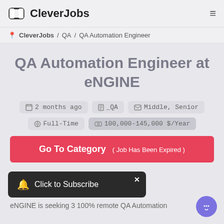CleverJobs
CleverJobs / QA / QA Automation Engineer
QA Automation Engineer at eNGINE
2 months ago  _QA  Middle, Senior
Full-Time  100,000-145,000 $/Year
Go To Category ( Job Has Been Expired )
Click to Subscribe
eNGINE is seeking 3 100% remote QA Automation